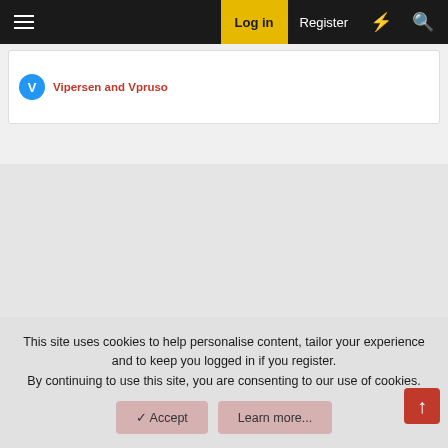Log in | Register
Vipersen and Vpruso
This site uses cookies to help personalise content, tailor your experience and to keep you logged in if you register. By continuing to use this site, you are consenting to our use of cookies.
Accept | Learn more...